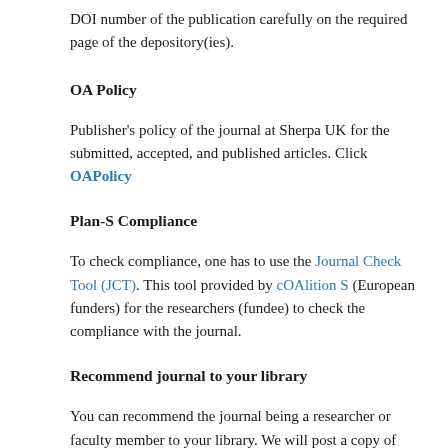DOI number of the publication carefully on the required page of the depository(ies).
OA Policy
Publisher's policy of the journal at Sherpa UK for the submitted, accepted, and published articles. Click OAPolicy
Plan-S Compliance
To check compliance, one has to use the Journal Check Tool (JCT). This tool provided by cOAlition S (European funders) for the researchers (fundee) to check the compliance with the journal.
Recommend journal to your library
You can recommend the journal being a researcher or faculty member to your library. We will post a copy of the Journal to your library on your behalf at free of cost. Click here: Recommend Journal